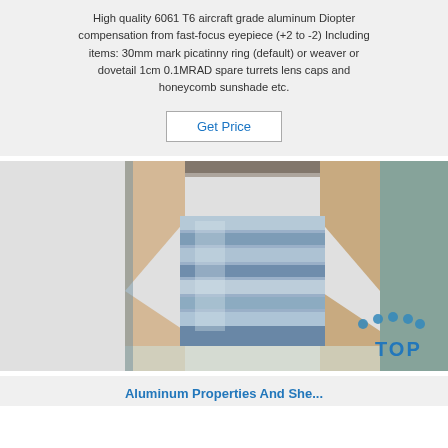High quality 6061 T6 aircraft grade aluminum Diopter compensation from fast-focus eyepiece (+2 to -2) Including items: 30mm mark picatinny ring (default) or weaver or dovetail 1cm 0.1MRAD spare turrets lens caps and honeycomb sunshade etc.
Get Price
[Figure (photo): Photo of aluminum sheets wrapped in protective packaging (beige foam/paper corners and clear plastic), showing shiny metallic surface with horizontal reflective bands. A 'TOP' badge logo visible in bottom right corner.]
Aluminum Properties And She...